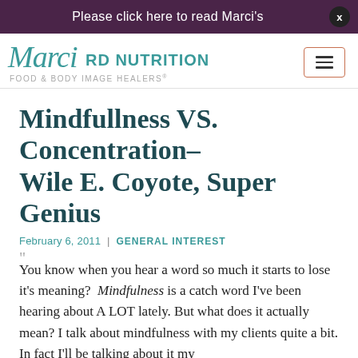Please click here to read Marci's
[Figure (logo): Marci RD Nutrition logo with teal script 'Marci', bold sans-serif 'RD NUTRITION', and tagline 'FOOD & BODY IMAGE HEALERS']
Mindfullness VS. Concentration- Wile E. Coyote, Super Genius
February 6, 2011 | GENERAL INTEREST
You know when you hear a word so much it starts to lose it's meaning? Mindfulness is a catch word I've been hearing about A LOT lately. But what does it actually mean? I talk about mindfulness with my clients quite a bit. In fact I'll be talking about it my